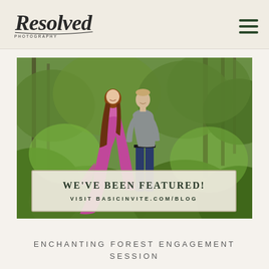[Figure (logo): Resolved Photography script logo in dark ink]
[Figure (photo): Couple walking in lush green forest, woman in pink/magenta dress, man in grey shirt and jeans. Overlay banner reads WE'VE BEEN FEATURED! VISIT BASICINVITE.COM/BLOG]
ENCHANTING FOREST ENGAGEMENT SESSION